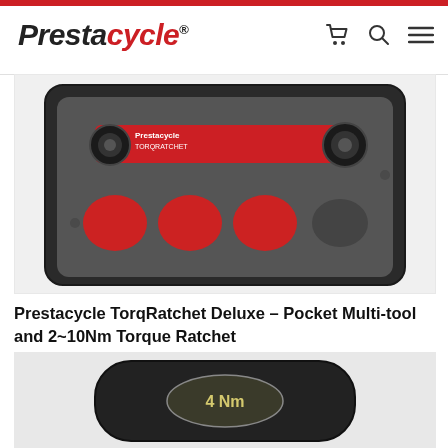Prestacycle®
[Figure (photo): Product photo of Prestacycle TorqRatchet Deluxe set in a black foam-lined case with red accents and tools.]
Prestacycle TorqRatchet Deluxe – Pocket Multi-tool and 2~10Nm Torque Ratchet
$49.95
[Figure (photo): Close-up product photo of a black torque tool showing a label reading '4 Nm'.]